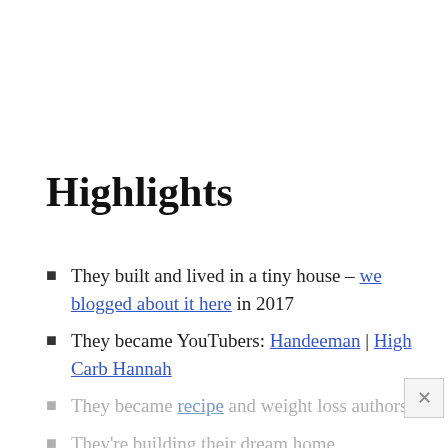Highlights
They built and lived in a tiny house – we blogged about it here in 2017
They became YouTubers: Handeeman | High Carb Hannah
They became recipe and weight loss authors
They're building their dream home